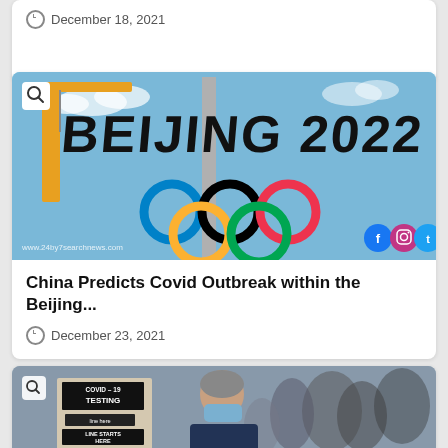December 18, 2021
[Figure (photo): Beijing 2022 Olympic sign with Olympic rings against blue sky, crane visible]
China Predicts Covid Outbreak within the Beijing...
December 23, 2021
[Figure (photo): People wearing face masks standing in line at a COVID-19 testing site with signs reading COVID-19 TESTING and LINE STARTS HERE]